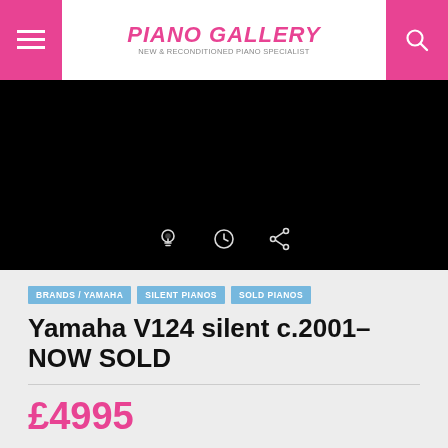Piano Gallery – New & Reconditioned Piano Specialist
[Figure (screenshot): Dark hero image with three icons: a lightbulb, a clock/history, and a share icon on a black background]
BRANDS / YAMAHA  SILENT PIANOS  SOLD PIANOS
Yamaha V124 silent c.2001– NOW SOLD
£4995